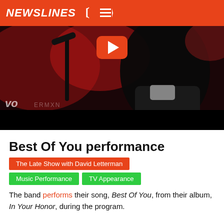NEWSLINES
[Figure (photo): A dark video thumbnail showing a male musician singing into a microphone under red stage lighting, with a YouTube-style play button (red rounded rectangle with white triangle) in the upper center. VEVO watermark visible at lower left. Black letterbox bar at bottom.]
Best Of You performance
The Late Show with David Letterman
Music Performance   TV Appearance
The band performs their song, Best Of You, from their album, In Your Honor, during the program.